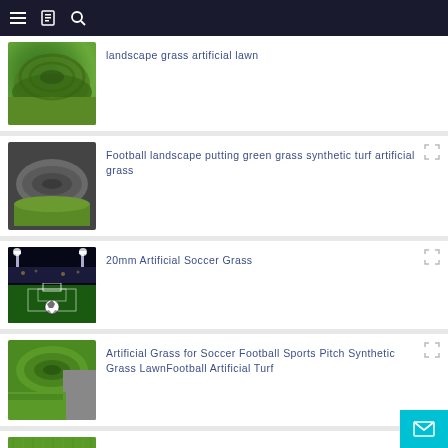Navigation bar with menu, catalog, and search icons
[Figure (photo): Rolled artificial grass lawn product image (partial, top cut off)]
landscape grass artificial lawn
[Figure (photo): Rolled synthetic turf with dark and green layers]
Football landscape putting green grass synthetic turf artificial grass
[Figure (photo): Soccer stadium at night with ball in foreground]
20mm Artificial Soccer Grass
[Figure (photo): Rolled artificial grass with grey backing visible]
Artificial Grass for Soccer Football Sports Pitch Synthetic Grass LawnFootball Artificial Turf
[Figure (photo): Flat green artificial grass surface (partial)]